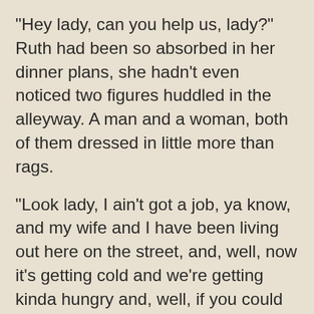"Hey lady, can you help us, lady?" Ruth had been so absorbed in her dinner plans, she hadn't even noticed two figures huddled in the alleyway. A man and a woman, both of them dressed in little more than rags.
"Look lady, I ain't got a job, ya know, and my wife and I have been living out here on the street, and, well, now it's getting cold and we're getting kinda hungry and, well, if you could help us, lady, we'd really appreciate it."
Ruth looked at them both. They were dirty, they smelled bad and, frankly, she was certain that they could get some kind of work if they really wanted to. "Sir, I'd like to help you, but I'm a poor woman myself. All I have is a few cold cuts and some bread, and I'm having an important guest for dinner tonight